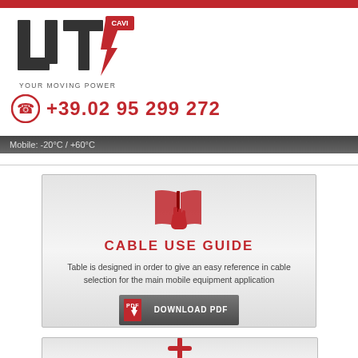[Figure (logo): UTV Cavi logo with lightning bolt and tagline YOUR MOVING POWER]
+39.02 95 299 272
Mobile: -20°C / +60°C
[Figure (illustration): Open book with hand pointer icon in red]
CABLE USE GUIDE
Table is designed in order to give an easy reference in cable selection for the main mobile equipment application
DOWNLOAD PDF
[Figure (illustration): Red cross/plus icon partially visible at bottom]